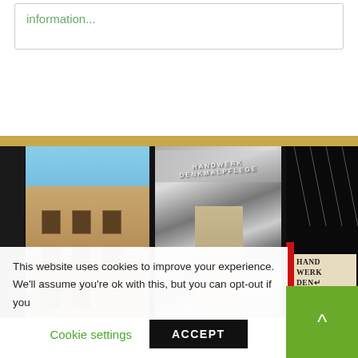information...
[Figure (photo): A collage of three diagonal photo strips: a building facade (historic stone architecture, blue sky), a black-and-white interior architectural photo, and a dark interior with a book cover reading HANDWERK DENK MAL PFLEC with a red strip]
This website uses cookies to improve your experience. We'll assume you're ok with this, but you can opt-out if you
Cookie settings
ACCEPT